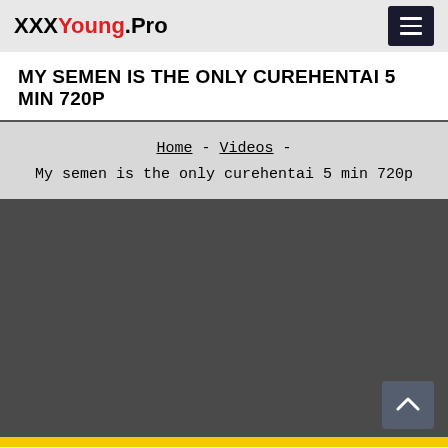XXXYoung.Pro
MY SEMEN IS THE ONLY CUREHENTAI 5 MIN 720P
Home - Videos - My semen is the only curehentai 5 min 720p
[Figure (other): Dark grey video player area with scroll-to-top button in bottom right corner]